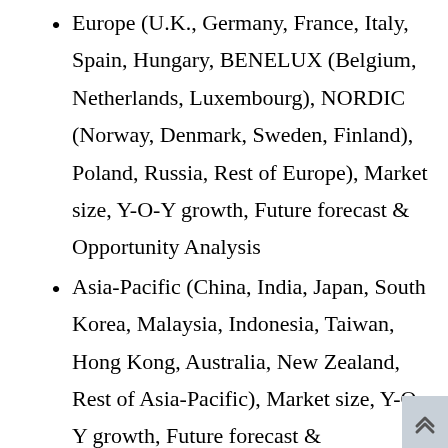Europe (U.K., Germany, France, Italy, Spain, Hungary, BENELUX (Belgium, Netherlands, Luxembourg), NORDIC (Norway, Denmark, Sweden, Finland), Poland, Russia, Rest of Europe), Market size, Y-O-Y growth, Future forecast & Opportunity Analysis
Asia-Pacific (China, India, Japan, South Korea, Malaysia, Indonesia, Taiwan, Hong Kong, Australia, New Zealand, Rest of Asia-Pacific), Market size, Y-O-Y growth, Future forecast & Opportunity Analysis
Middle East and Africa (Israel, GCC (Saudi Arabia, UAE, Bahrain, Kuwait, Qatar, Oman), North Africa, South Africa, Rest of